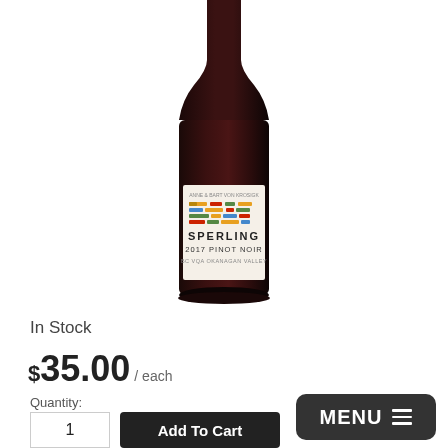[Figure (photo): A dark wine bottle with a white label reading SPERLING 2017 PINOT NOIR BC VQA OKANAGAN VALLEY, featuring a colorful stacked-bar logo design on the label.]
In Stock
$35.00 / each
Quantity:
1
Add To Cart
MENU